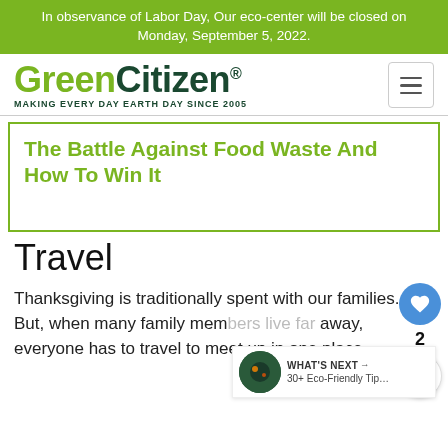In observance of Labor Day, Our eco-center will be closed on Monday, September 5, 2022.
[Figure (logo): GreenCitizen logo with tagline MAKING EVERY DAY EARTH DAY SINCE 2005]
The Battle Against Food Waste And How To Win It
Travel
Thanksgiving is traditionally spent with our families. But, when many family members live far away, everyone has to travel to meet up in one place.